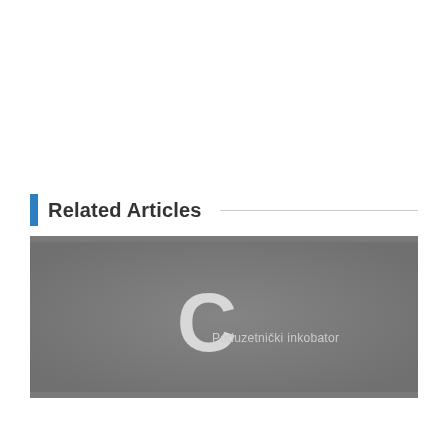Related Articles
[Figure (photo): Photograph of a sign or plaque showing a large letter C logo with the text 'Poduzetnički inkubator' (Entrepreneurial incubator) on a gray background.]